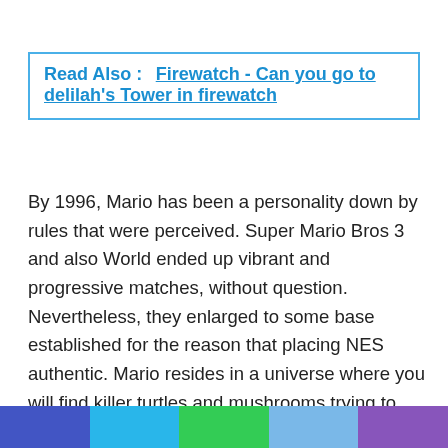Read Also :   Firewatch - Can you go to delilah's Tower in firewatch
By 1996, Mario has been a personality down by rules that were perceived. Super Mario Bros 3 and also World ended up vibrant and progressive matches, without question. Nevertheless, they enlarged to some base established for the reason that placing NES authentic. Mario resides in a universe where you will find killer turtles and mushrooms trying to find a mohawked drag-on person using anti-social trends as well as a penchant for blondes. This truth could be adorned on, however, maybe not done. SuperMario RPG treats Mario's ago as provincial; what you have viewed so far was localized to a piece of those Mushroom Kingdom or even Dinosaur